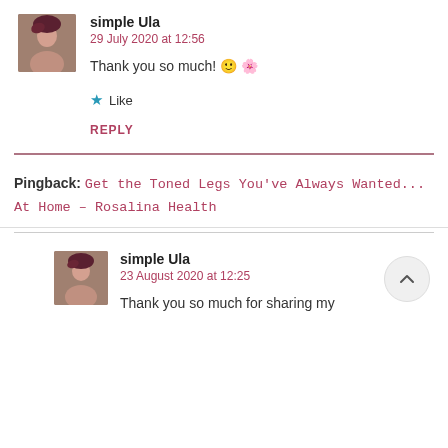simple Ula
29 July 2020 at 12:56
Thank you so much! 🙂 🌸
★ Like
REPLY
Pingback: Get the Toned Legs You've Always Wanted... At Home – Rosalina Health
simple Ula
23 August 2020 at 12:25
Thank you so much for sharing my